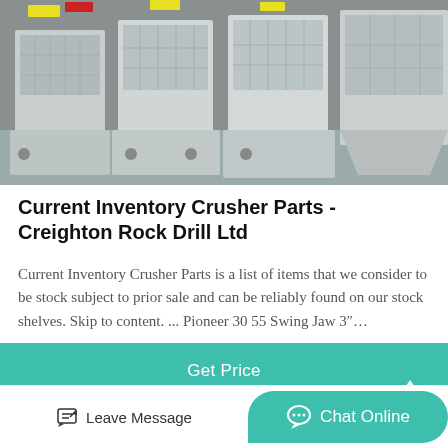[Figure (photo): Industrial crusher parts/jaw crusher components on a factory floor, grey/beige metal equipment]
Current Inventory Crusher Parts - Creighton Rock Drill Ltd
Current Inventory Crusher Parts is a list of items that we consider to be stock subject to prior sale and can be reliably found on our stock shelves. Skip to content. ... Pioneer 30 55 Swing Jaw 3″…
[Figure (screenshot): Get Price button — teal/green background with white text]
[Figure (photo): Partial view of industrial machinery/equipment, dark tones]
[Figure (screenshot): Bottom navigation bar with Leave Message and Chat Online buttons]